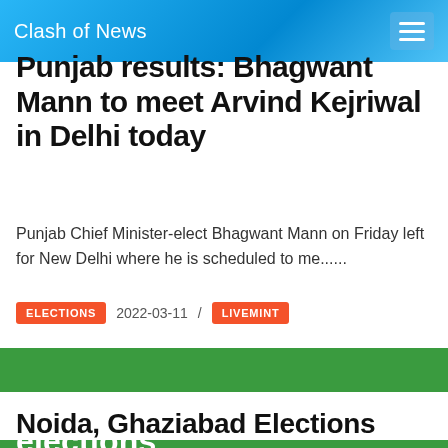Clash of News
Punjab results: Bhagwant Mann to meet Arvind Kejriwal in Delhi today
Punjab Chief Minister-elect Bhagwant Mann on Friday left for New Delhi where he is scheduled to me......
ELECTIONS  2022-03-11 /  LIVEMINT
elections
Noida, Ghaziabad Elections